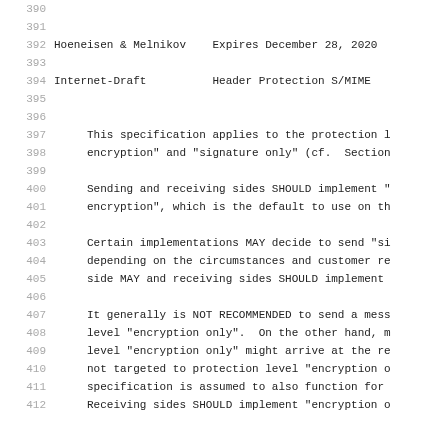390
391
392   Hoeneisen & Melnikov    Expires December 28, 2020
393
394   Internet-Draft           Header Protection S/MIME
395
396
397      This specification applies to the protection l
398      encryption" and "signature only" (cf.  Section
399
400      Sending and receiving sides SHOULD implement "
401      encryption", which is the default to use on th
402
403      Certain implementations MAY decide to send "si
404      depending on the circumstances and customer re
405      side MAY and receiving sides SHOULD implement
406
407      It generally is NOT RECOMMENDED to send a mess
408      level "encryption only".  On the other hand, m
409      level "encryption only" might arrive at the re
410      not targeted to protection level "encryption o
411      specification is assumed to also function for
412      Receiving sides SHOULD implement "encryption o